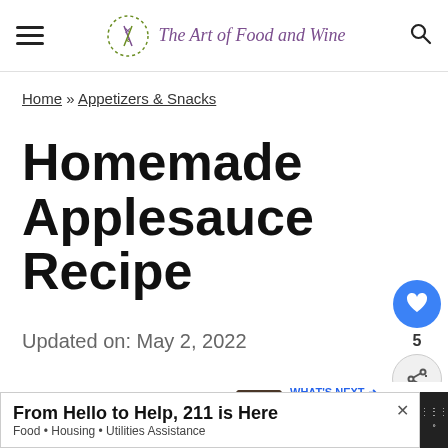The Art of Food and Wine
Home » Appetizers & Snacks
Homemade Applesauce Recipe
Updated on: May 2, 2022
5
WHAT'S NEXT → Chocolate Martini with ...
From Hello to Help, 211 is Here
Food • Housing • Utilities Assistance